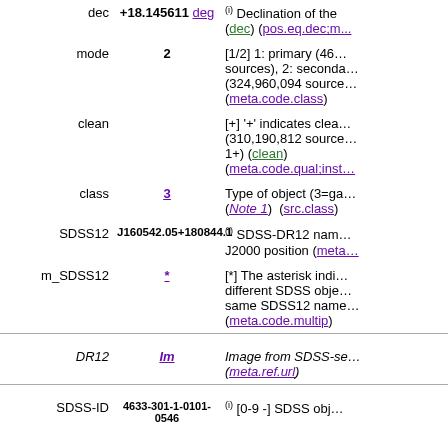| Name | Value | Description |
| --- | --- | --- |
| dec | +18.145611 deg | (i) Declination of the (dec) (pos.eq.dec;m...) |
| mode | 2 | [1/2] 1: primary (46... sources), 2: seconda... (324,960,094 source... (meta.code.class) |
| clean |  | [+] '+' indicates clea... (310,190,812 source... 1+) (clean) (meta.code.qual;inst... |
| class | 3 | Type of object (3=ga... (Note 1) (src.class) |
| SDSS12 | J160542.05+180844.1 | (i) SDSS-DR12 nam... J2000 position (met... |
| m_SDSS12 | * | [*] The asterisk indi... different SDSS obje... same SDSS12 name... (meta.code.multip) |
| DR12 | Im | Image from SDSS-se... (meta.ref.url) |
| SDSS-ID | 4633-301-1-0101-0546 | (i) [0-9 -] SDSS obj... |